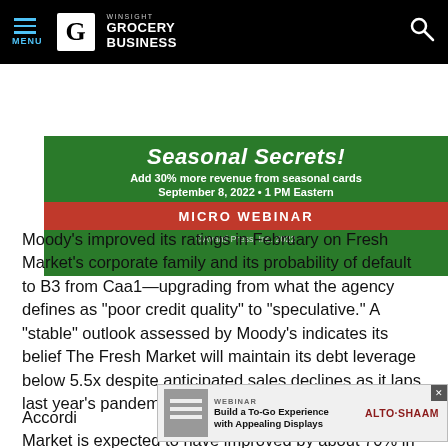MENU | WINSIGHT GROCERY BUSINESS
[Figure (infographic): Green advertisement banner: 'Seasonal Secrets! Add 30% more revenue from seasonal cards September 8, 2022 • 1 PM Eastern MICRO WEBINAR ©Avanti Press, Inc. 2022']
Moody's improved its ratings in February on Fresh Market's corporate family and its probability of default to B3 from Caa1—upgrading from what the agency defines as "poor credit quality" to "speculative." A "stable" outlook assessed by Moody's indicates its belief The Fresh Market will maintain its debt leverage below 5.5x despite anticipated sales declines as it laps last year's pandemic-related sales gains.
[Figure (infographic): Inline webinar advertisement: 'WEBINAR Build a To-Go Experience with Appealing Displays ALTO·SHAAM']
According to [obscured] resh Market is expected to have improved by about 70% in